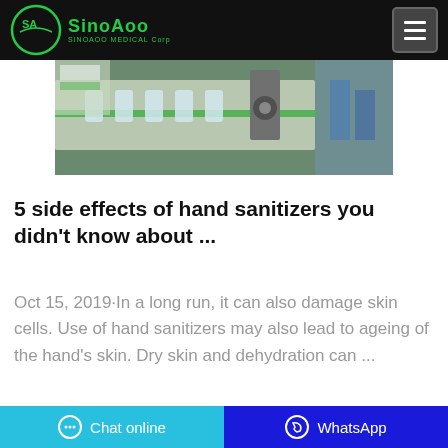SinoAoo Medical Corp
[Figure (photo): Manufacturing facility with conveyor belt and bottles being filled/labeled, workers in background wearing blue protective gear]
5 side effects of hand sanitizers you didn't know about ...
Oct 15, 2019·In a long run, it can also damage skin cells. Use of hand sanitizers may also lead to ageing of the hand's skin. Dry skin and dehydration can ...
Chat online | WhatsApp